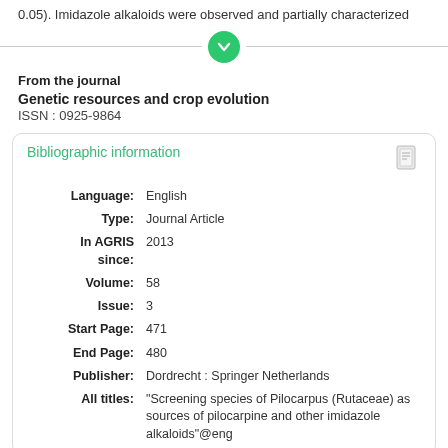0.05). Imidazole alkaloids were observed and partially characterized
From the journal
Genetic resources and crop evolution
ISSN : 0925-9864
Bibliographic information
| Field | Value |
| --- | --- |
| Language: | English |
| Type: | Journal Article |
| In AGRIS since: | 2013 |
| Volume: | 58 |
| Issue: | 3 |
| Start Page: | 471 |
| End Page: | 480 |
| Publisher: | Dordrecht : Springer Netherlands |
| All titles: | "Screening species of Pilocarpus (Rutaceae) as sources of pilocarpine and other imidazole alkaloids"@eng |